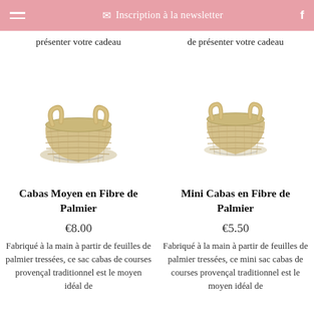≡  ✉ Inscription à la newsletter  f
présenter votre cadeau
de présenter votre cadeau
[Figure (photo): Woven palm fiber basket with handles (Cabas Moyen)]
[Figure (photo): Smaller woven palm fiber basket with handles (Mini Cabas)]
Cabas Moyen en Fibre de Palmier
Mini Cabas en Fibre de Palmier
€8.00
€5.50
Fabriqué à la main à partir de feuilles de palmier tressées, ce sac cabas de courses provençal traditionnel est le moyen idéal de
Fabriqué à la main à partir de feuilles de palmier tressées, ce mini sac cabas de courses provençal traditionnel est le moyen idéal de